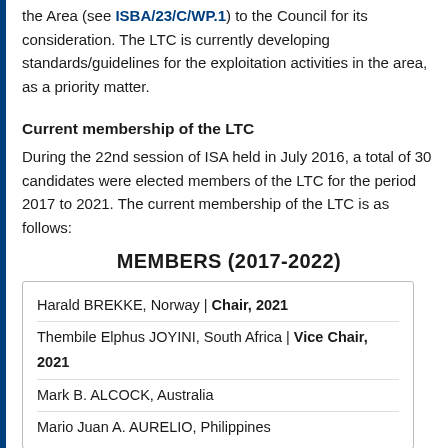the Area (see ISBA/23/C/WP.1) to the Council for its consideration. The LTC is currently developing standards/guidelines for the exploitation activities in the area, as a priority matter.
Current membership of the LTC
During the 22nd session of ISA held in July 2016, a total of 30 candidates were elected members of the LTC for the period 2017 to 2021. The current membership of the LTC is as follows:
MEMBERS (2017-2022)
| Harald BREKKE, Norway | Chair, 2021 |
| Thembile Elphus JOYINI, South Africa | Vice Chair, 2021 |
| Mark B. ALCOCK, Australia |
| Mario Juan A. AURELIO, Philippines |